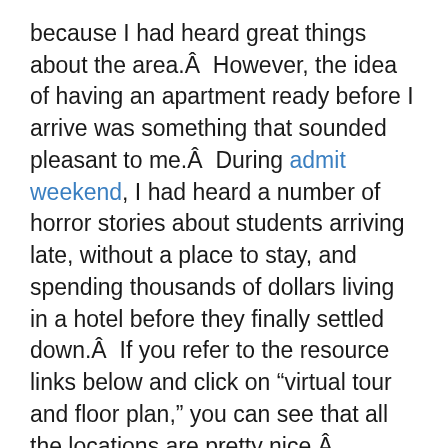because I had heard great things about the area.Â  However, the idea of having an apartment ready before I arrive was something that sounded pleasant to me.Â  During admit weekend, I had heard a number of horror stories about students arriving late, without a place to stay, and spending thousands of dollars living in a hotel before they finally settled down.Â  If you refer to the resource links below and click on “virtual tour and floor plan,” you can see that all the locations are pretty nice.Â  Because I think these units are sufficient, using student housing would also save me the cost and trouble of flying out to LA and scoping out a place.Â  Anyway, I haven’t fully decided where I want to live, but I definitely would like to have the option of